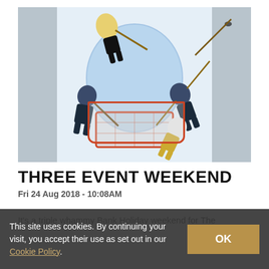[Figure (photo): Aerial/top-down view of ice hockey players around a goal net during a game. Players in dark uniforms (navy/black) and gold/white uniforms are visible around the orange-rimmed goal. The blue goalie crease circle is visible on the ice.]
THREE EVENT WEEKEND
Fri 24 Aug 2018 - 10:08AM
It's a triple whammy Bank Holiday weekend for The
This site uses cookies. By continuing your visit, you accept their use as set out in our Cookie Policy.